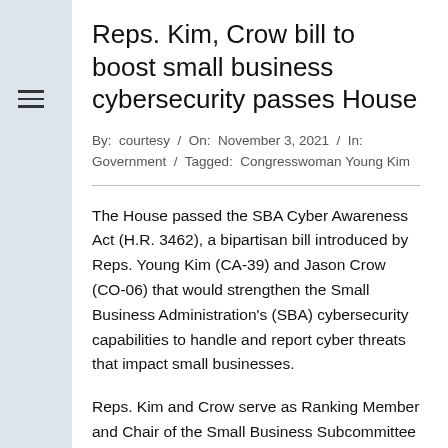Reps. Kim, Crow bill to boost small business cybersecurity passes House
By: courtesy / On: November 3, 2021 / In: Government / Tagged: Congresswoman Young Kim
The House passed the SBA Cyber Awareness Act (H.R. 3462), a bipartisan bill introduced by Reps. Young Kim (CA-39) and Jason Crow (CO-06) that would strengthen the Small Business Administration's (SBA) cybersecurity capabilities to handle and report cyber threats that impact small businesses.
Reps. Kim and Crow serve as Ranking Member and Chair of the Small Business Subcommittee on Innovation, Entrepreneurship and Workforce